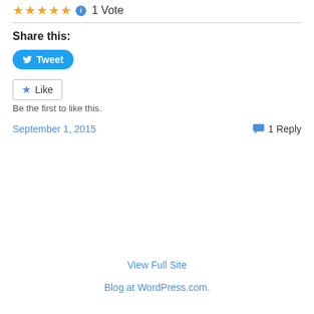★★★★★ ℹ 1 Vote
Share this:
[Figure (other): Tweet button with Twitter bird icon]
[Figure (other): Like button with star icon]
Be the first to like this.
September 1, 2015
1 Reply
View Full Site
Blog at WordPress.com.